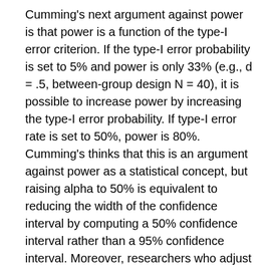Cumming's next argument against power is that power is a function of the type-I error criterion. If the type-I error probability is set to 5% and power is only 33% (e.g., d = .5, between-group design N = 40), it is possible to increase power by increasing the type-I error probability. If type-I error rate is set to 50%, power is 80%. Cumming's thinks that this is an argument against power as a statistical concept, but raising alpha to 50% is equivalent to reducing the width of the confidence interval by computing a 50% confidence interval rather than a 95% confidence interval. Moreover, researchers who adjust alpha to 50% are essentially saying that the null-hypothesis would produce a significant result in every other study. If an editor finds this acceptable and wants to publish the results, neither power analysis nor the reported results are problematic. It is true that there was a good chance to get a significant result when a moderate effect is present (d = .5, 80% probability) and when no effect is present (d = 0, 50% probability). Power analysis provides accurate information about the